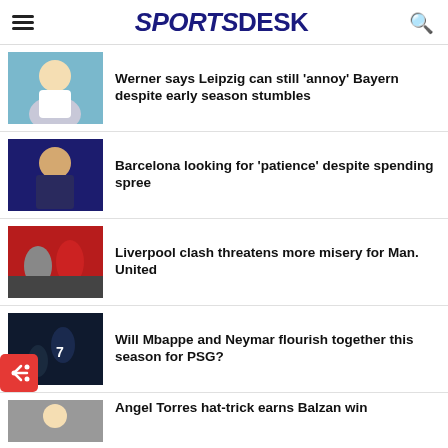SPORTS DESK
Werner says Leipzig can still ‘annoy’ Bayern despite early season stumbles
Barcelona looking for ‘patience’ despite spending spree
Liverpool clash threatens more misery for Man. United
Will Mbappe and Neymar flourish together this season for PSG?
Angel Torres hat-trick earns Balzan win